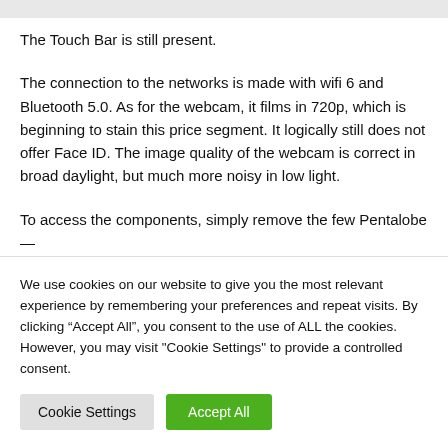The Touch Bar is still present.
The connection to the networks is made with wifi 6 and Bluetooth 5.0. As for the webcam, it films in 720p, which is beginning to stain this price segment. It logically still does not offer Face ID. The image quality of the webcam is correct in broad daylight, but much more noisy in low light.
To access the components, simply remove the few Pentalobe —
We use cookies on our website to give you the most relevant experience by remembering your preferences and repeat visits. By clicking “Accept All”, you consent to the use of ALL the cookies. However, you may visit "Cookie Settings" to provide a controlled consent.